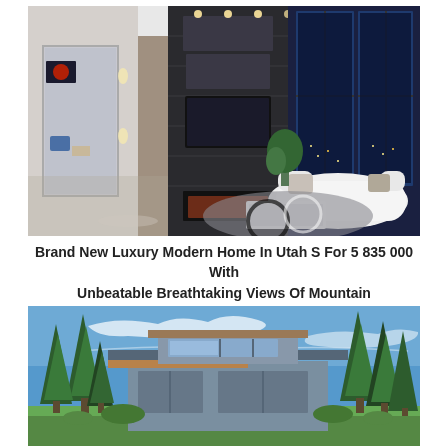[Figure (photo): Interior of a luxury modern home showing a grand living room with high ceilings, dark stone fireplace wall with mounted TV, white curved sofa, abstract rug, large glass sliding doors with night city view, and art on walls.]
Brand New Luxury Modern Home In Utah S For 5 835 000 With Unbeatable Breathtaking Views Of Mountain
[Figure (photo): Exterior of a modern home with flat/angular roofline, wood accent soffits, large windows, grey siding, surrounded by tall evergreen trees under a blue sky with light clouds.]